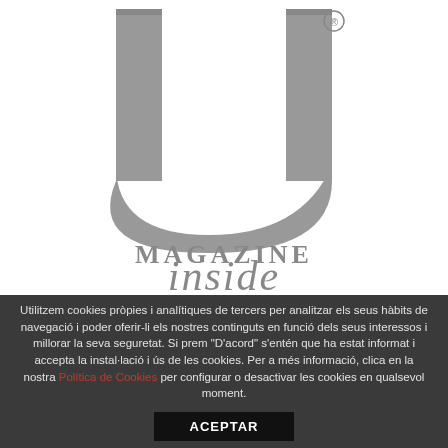[Figure (logo): U Magazine Inside Switzerland logo — large grey serif U letterform with registered trademark symbol, with 'MAGAZINE' in spaced serif capitals and 'inside' in large grey italic/serif text below, with 'SWITZERLAND' in small spaced capitals beneath]
Utilitzem cookies pròpies i analítiques de tercers per analitzar els seus hàbits de navegació i poder oferir-li els nostres continguts en funció dels seus interessos i millorar la seva seguretat. Si prem "D'acord" s'entén que ha estat informat i accepta la instal·lació i ús de les cookies. Per a més informació, clica en la nostra Política de Cookies per configurar o desactivar les cookies en qualsevol moment.
ACEPTAR